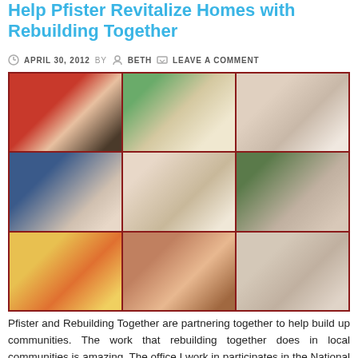Help Pfister Revitalize Homes with Rebuilding Together
APRIL 30, 2012   BY   BETH   LEAVE A COMMENT
[Figure (photo): 3x3 grid of photos showing people participating in Rebuilding Together community work events]
Pfister and Rebuilding Together are partnering together to help build up communities. The work that rebuilding together does in local communities is amazing. The office I work in participates in the National Rebuilding Together Day where they help a local home owner. The tasks … [Read more...]